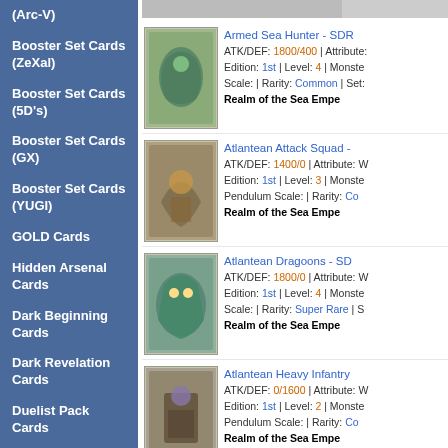(Arc-V)
Booster Set Cards (ZeXal)
Booster Set Cards (5D's)
Booster Set Cards (GX)
Booster Set Cards (YUGI)
GOLD Cards
Hidden Arsenal Cards
Dark Beginning Cards
Dark Revelation Cards
Duelist Pack Cards
Promo Cards
Starter Deck Cards (ZeXal)
Gates of the Underworld
Armed Sea Hunter - SDR ATK/DEF: 1800/400 | Attribute: Edition: 1st | Level: 4 | Monste Scale: | Rarity: Common | Set: Realm of the Sea Empe
Atlantean Attack Squad - ATK/DEF: 1400/0 | Attribute: W Edition: 1st | Level: 3 | Monste Pendulum Scale: | Rarity: Co Realm of the Sea Empe
Atlantean Dragoons - SD ATK/DEF: 1800/0 | Attribute: W Edition: 1st | Level: 4 | Monste Scale: | Rarity: Super Rare | S Realm of the Sea Empe
Atlantean Heavy Infantry ATK/DEF: 0/1600 | Attribute: W Edition: 1st | Level: 2 | Monste Pendulum Scale: | Rarity: Co Realm of the Sea Empe
Atlantean Marksman - SD ATK/DEF: 1400/0 | Attribute: W Edition: 1st | Level: 3 | Monste Pendulum Scale: | Rarity: Co Realm of the Sea Empe